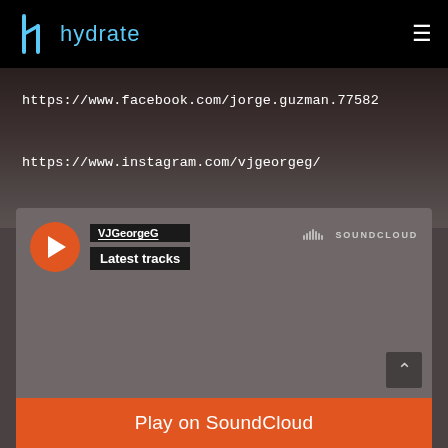[Figure (logo): Hydrate logo with blue stylized 'h' icon and 'hydrate' text in cyan/blue color on black navbar]
https://www.facebook.com/jorge.guzman.77582
https://www.instagram.com/vjgeorgeg/
[Figure (screenshot): SoundCloud embedded widget showing VJGeorgeG profile with play button, 'Latest tracks' label, SoundCloud logo, and orange 'Play on SoundCloud' button at bottom]